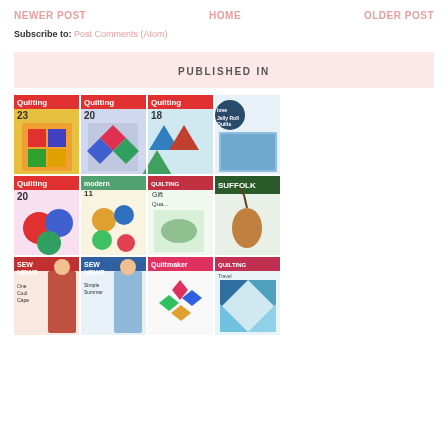NEWER POST | HOME | OLDER POST
Subscribe to: Post Comments (Atom)
PUBLISHED IN
[Figure (photo): A 4x3 grid collage of quilting and sewing magazine covers including Love Quilting, Modern Quilting, Quilting magazines, Suffolk, Sew News, Quiltmaker, and other quilting publications]